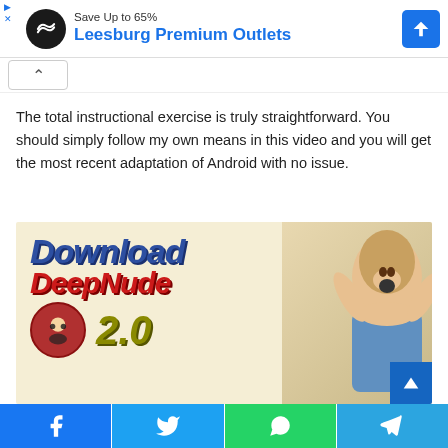[Figure (screenshot): Ad banner for Leesburg Premium Outlets showing logo, 'Save Up to 65%' text, outlet name in blue, and navigation icon]
The total instructional exercise is truly straightforward. You should simply follow my own means in this video and you will get the most recent adaptation of Android with no issue.
[Figure (illustration): Promotional image with 'Download DeepNude 2.0' text on beige background with a surprised man and avatar logo]
[Figure (screenshot): Social sharing bar with Facebook, Twitter, WhatsApp, and Telegram icons]